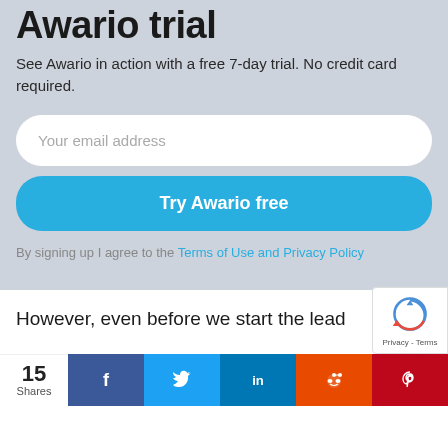Awario trial
See Awario in action with a free 7-day trial. No credit card required.
Your email address
Try Awario free
By signing up I agree to the Terms of Use and Privacy Policy
[Figure (logo): reCAPTCHA logo with text Privacy - Terms]
[Figure (other): Scroll up arrow button]
However, even before we start the lead
15
Shares
[Figure (infographic): Social share bar with Facebook, Twitter, LinkedIn, Reddit, Pinterest icons]